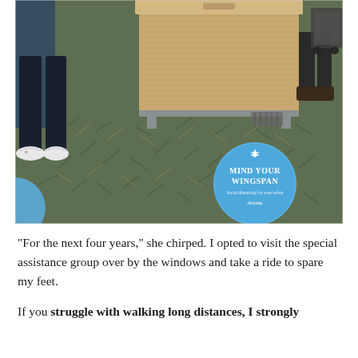[Figure (photo): Airport terminal floor showing green patterned carpet with a blue circular floor decal reading 'MIND YOUR WINGSPAN' with Alaska Airlines branding. A wooden check-in counter is visible in the background, with a person in dark pants and white New Balance sneakers standing to the left. Another person with a walker/wheelchair is visible in the upper right. The overall setting appears to be an Alaska Airlines terminal.]
“For the next four years,” she chirped. I opted to visit the special assistance group over by the windows and take a ride to spare my feet.
If you struggle with walking long distances, I strongly